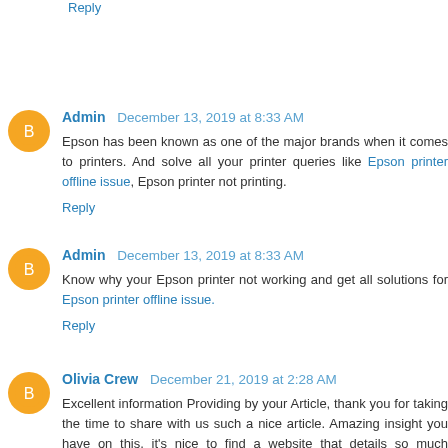Reply
Admin  December 13, 2019 at 8:33 AM
Epson has been known as one of the major brands when it comes to printers. And solve all your printer queries like Epson printer offline issue, Epson printer not printing.
Reply
Admin  December 13, 2019 at 8:33 AM
Know why your Epson printer not working and get all solutions for Epson printer offline issue.
Reply
Olivia Crew  December 21, 2019 at 2:28 AM
Excellent information Providing by your Article, thank you for taking the time to share with us such a nice article. Amazing insight you have on this, it's nice to find a website that details so much information about different artists.